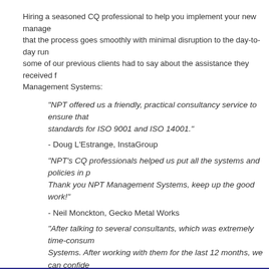Hiring a seasoned CQ professional to help you implement your new management system ensures that the process goes smoothly with minimal disruption to the day-to-day running of your business. Here is some of our previous clients had to say about the assistance they received from the team at NPT Management Systems:
"NPT offered us a friendly, practical consultancy service to ensure that we met the required standards for ISO 9001 and ISO 14001."
- Doug L'Estrange, InstaGroup
"NPT's CQ professionals helped us put all the systems and policies in place. Thank you NPT Management Systems, keep up the good work!"
- Neil Monckton, Gecko Metal Works
"After talking to several consultants, which was extremely time-consuming, we decided to go with NPT Management Systems. After working with them for the last 12 months, we can confidently say it was the right choice. We now have a quality management system that is used by the whole company and our staff have the system, tools and training to help us deliver the right products to our clients."
- Hadley Smith, Anchor Systems
We can assist with all types of management systems across virtually all industries including construction, recruitment, sales, manufacturing, engineering, and many others. If you would like to find out more about our professionals and how they may be able to help you improve your organisation, contact NPT Management Systems today.